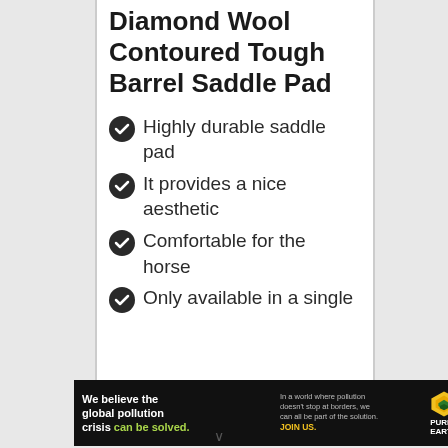Diamond Wool Contoured Tough Barrel Saddle Pad
Highly durable saddle pad
It provides a nice aesthetic
Comfortable for the horse
Only available in a single
[Figure (infographic): Pure Earth advertisement banner: black background with white bold text 'We believe the global pollution crisis can be solved.' (with 'can be solved.' in green), small grey text 'In a world where pollution doesn't stop at borders, we can all be part of the solution.' and yellow bold text 'JOIN US.' followed by Pure Earth diamond logo and 'PURE EARTH' text in black on white area.]